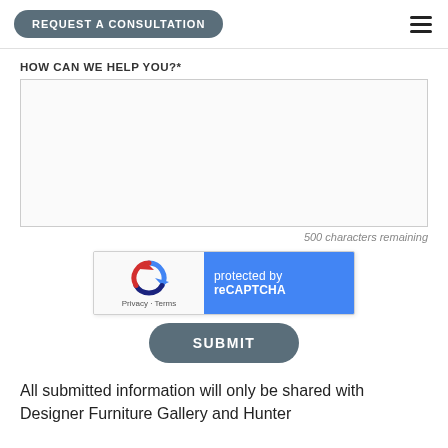REQUEST A CONSULTATION
HOW CAN WE HELP YOU?*
500 characters remaining
[Figure (other): reCAPTCHA widget showing Google reCAPTCHA logo with 'protected by reCAPTCHA' text, Privacy and Terms links]
SUBMIT
All submitted information will only be shared with Designer Furniture Gallery and Hunter